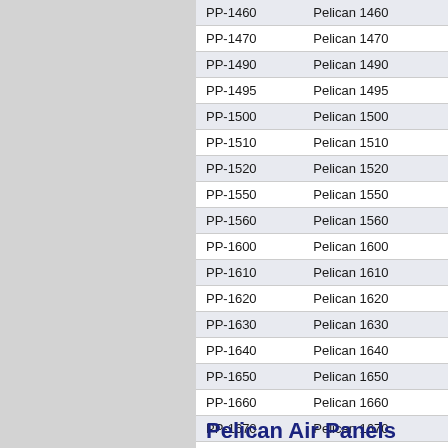| Code | Description |
| --- | --- |
| PP-1460 | Pelican 1460 |
| PP-1470 | Pelican 1470 |
| PP-1490 | Pelican 1490 |
| PP-1495 | Pelican 1495 |
| PP-1500 | Pelican 1500 |
| PP-1510 | Pelican 1510 |
| PP-1520 | Pelican 1520 |
| PP-1550 | Pelican 1550 |
| PP-1560 | Pelican 1560 |
| PP-1600 | Pelican 1600 |
| PP-1610 | Pelican 1610 |
| PP-1620 | Pelican 1620 |
| PP-1630 | Pelican 1630 |
| PP-1640 | Pelican 1640 |
| PP-1650 | Pelican 1650 |
| PP-1660 | Pelican 1660 |
| PP-1670 | Pelican 1670 |
Pelican Air Panels